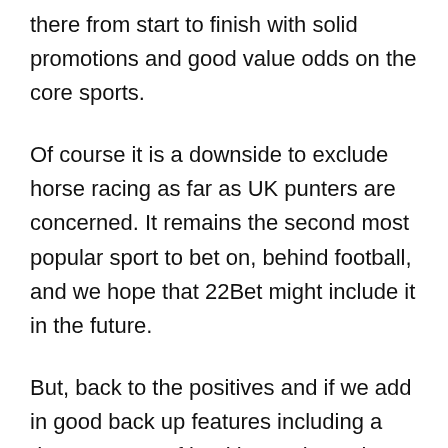there from start to finish with solid promotions and good value odds on the core sports.
Of course it is a downside to exclude horse racing as far as UK punters are concerned. It remains the second most popular sport to bet on, behind football, and we hope that 22Bet might include it in the future.
But, back to the positives and if we add in good back up features including a decent range of banking options plus effective customer support, it's all looking good for those considering signing up here.
Pros